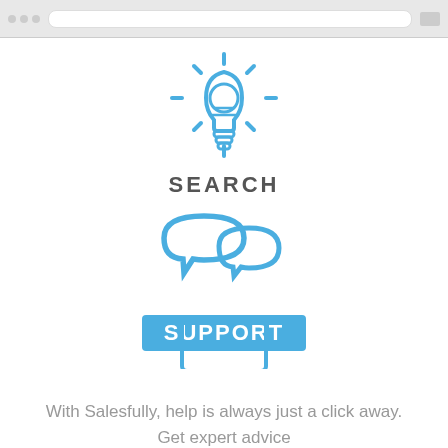[Figure (screenshot): Browser toolbar/address bar at top of page]
[Figure (illustration): Blue outline lightbulb icon with rays, representing Search]
SEARCH
[Figure (illustration): Two blue outline speech/chat bubble icons, representing Support]
SUPPORT
[Figure (illustration): Blue outline monitor/computer icon overlapping the SUPPORT label]
With Salesfully, help is always just a click away. Get expert advice